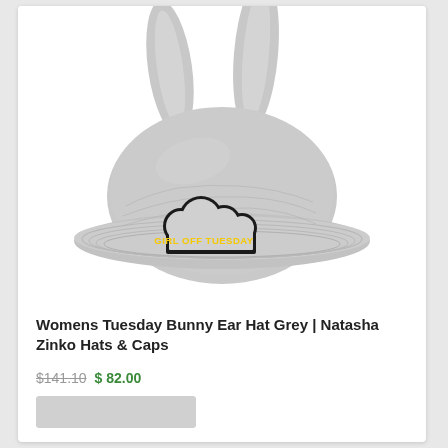[Figure (photo): A grey bucket hat with bunny ears on top, featuring an embroidered cloud patch with yellow text reading 'GIRL OFF TUESDAY', photographed on a white background.]
Womens Tuesday Bunny Ear Hat Grey | Natasha Zinko Hats & Caps
$141.10 $ 82.00